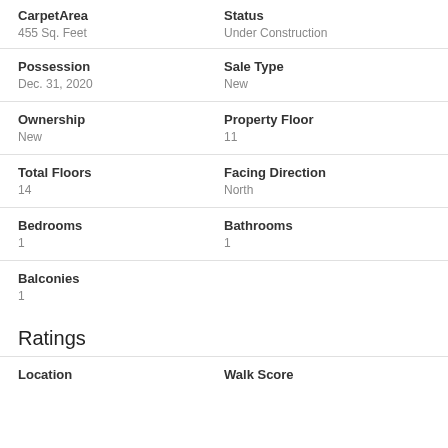| CarpetArea | Status | Possession | Sale Type | Ownership | Property Floor | Total Floors | Facing Direction | Bedrooms | Bathrooms | Balconies |
| --- | --- | --- | --- | --- | --- | --- | --- | --- | --- | --- |
| 455 Sq. Feet | Under Construction |
| Dec. 31, 2020 | New |
| New | 11 |
| 14 | North |
| 1 | 1 |
| 1 |  |
Ratings
Location
Walk Score